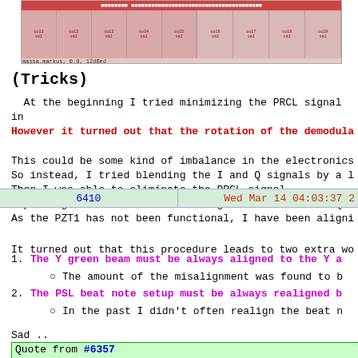[Figure (screenshot): Screenshot of a data table/spreadsheet with red header bar and pink/rose colored cells showing multiple columns of data]
(Tricks)
At the beginning I tried minimizing the PRCL signal in. However it turned out that the rotation of the demodula
This could be some kind of imbalance in the electronics. So instead, I tried blending the I and Q signals by a l. Then I was able to eliminate the PRCL signal. I put a gain of -0.1 for the I signal and 1 for the Q s
| 6410 | Wed Mar 14 04:03:37 2 |
| --- | --- |
As the PZT1 has not been functional, I have been aligni
It turned out that this procedure leads to two extra wo
1. The Y green beam must be always aligned to the Y a
The amount of the misalignment was found to b
2. The PSL beat note setup must be always realigned b
In the past I didn't often realign the beat n
Sad ..
Quote from #6357